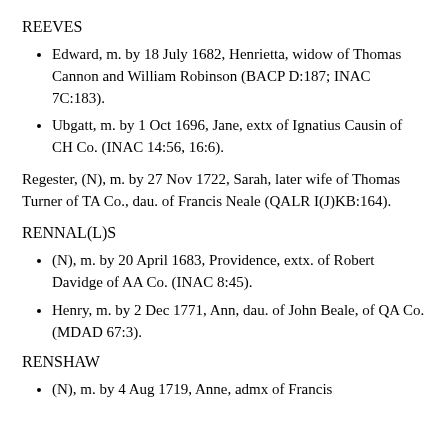REEVES
Edward, m. by 18 July 1682, Henrietta, widow of Thomas Cannon and William Robinson (BACP D:187; INAC 7C:183).
Ubgatt, m. by 1 Oct 1696, Jane, extx of Ignatius Causin of CH Co. (INAC 14:56, 16:6).
Regester, (N), m. by 27 Nov 1722, Sarah, later wife of Thomas Turner of TA Co., dau. of Francis Neale (QALR I(J)KB:164).
RENNAL(L)S
(N), m. by 20 April 1683, Providence, extx. of Robert Davidge of AA Co. (INAC 8:45).
Henry, m. by 2 Dec 1771, Ann, dau. of John Beale, of QA Co. (MDAD 67:3).
RENSHAW
(N), m. by 4 Aug 1719, Anne, admx of Francis Lakin of M Co. (MDAD 3:133).